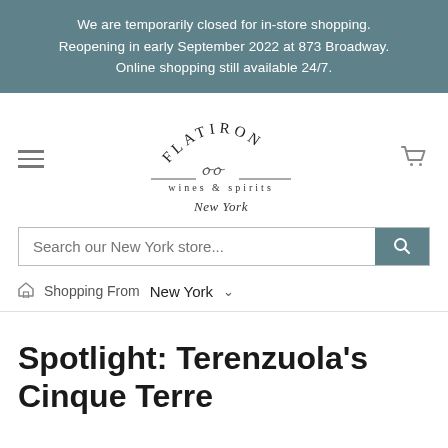We are temporarily closed for in-store shopping. Reopening in early September 2022 at 873 Broadway. Online shopping still available 24/7.
[Figure (logo): Flatiron Wines & Spirits New York logo with arched text, decorative swirls, and divider lines]
Search our New York store...
Shopping From  New York
Spotlight: Terenzuola's Cinque Terre